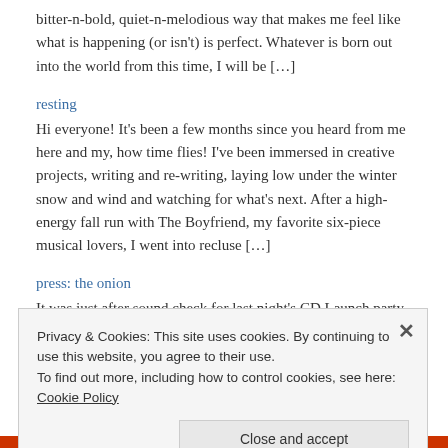bitter-n-bold, quiet-n-melodious way that makes me feel like what is happening (or isn't) is perfect. Whatever is born out into the world from this time, I will be […]
resting
Hi everyone! It's been a few months since you heard from me here and my, how time flies! I've been immersed in creative projects, writing and re-writing, laying low under the winter snow and wind and watching for what's next. After a high-energy fall run with The Boyfriend, my favorite six-piece musical lovers, I went into recluse […]
press: the onion
It was just after sound check for last night's CD Launch party for Under the Apple at The b.side Lounge that the boys brought the day's press to my attention. I'd been so preoccupied with the prep for the show, I forgot
Privacy & Cookies: This site uses cookies. By continuing to use this website, you agree to their use.
To find out more, including how to control cookies, see here: Cookie Policy
Close and accept